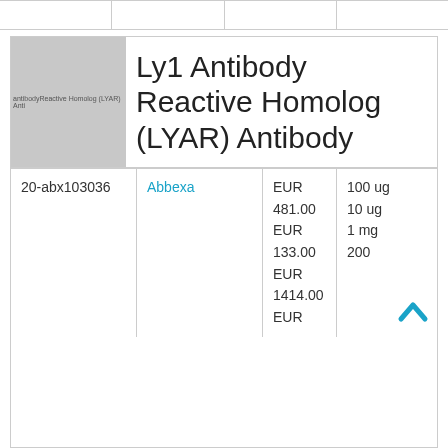|  |  |  |  |
| --- | --- | --- | --- |
|  |  |  |  |
[Figure (photo): Grayscale placeholder image for Ly1 Antibody Reactive Homolog (LYAR) Antibody product listing]
Ly1 Antibody Reactive Homolog (LYAR) Antibody
| Catalog | Supplier | Price | Size |
| --- | --- | --- | --- |
| 20-abx103036 | Abbexa | EUR 481.00
EUR 133.00
EUR 1414.00
EUR | 100 ug
10 ug
1 mg
200 |